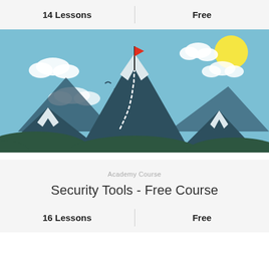14 Lessons
Free
[Figure (illustration): Illustration of mountains with snow-capped peaks, dark green forested bases, white dotted trail path, a red flag on the tallest peak, birds flying, white clouds, yellow sun in a blue sky background.]
Academy Course
Security Tools - Free Course
16 Lessons
Free